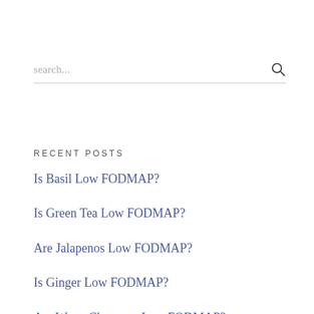search...
RECENT POSTS
Is Basil Low FODMAP?
Is Green Tea Low FODMAP?
Are Jalapenos Low FODMAP?
Is Ginger Low FODMAP?
Are Water Chestnuts Low FODMAP?